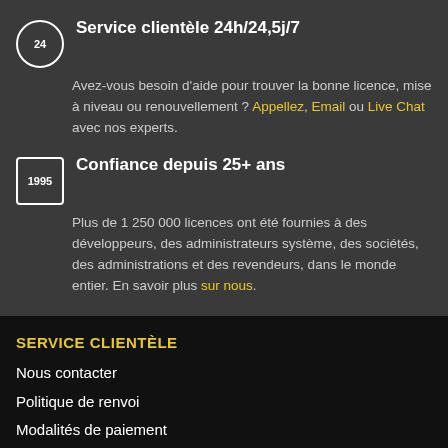Service clientèle 24h/24,5j/7
Avez-vous besoin d'aide pour trouver la bonne licence, mise à niveau ou renouvellement ? Appellez, Email ou Live Chat avec nos experts.
Confiance depuis 25+ ans
Plus de 1 250 000 licences ont été fournies à des développeurs, des administrateurs système, des sociétés, des administrations et des revendeurs, dans le monde entier. En savoir plus sur nous.
SERVICE CLIENTÈLE
Nous contacter
Politique de renvoi
Modalités de paiement
Notre utilisation des cookies
Déclaration de confidentialité
Termes et conditions
Centre d'aide
MON COMPTE